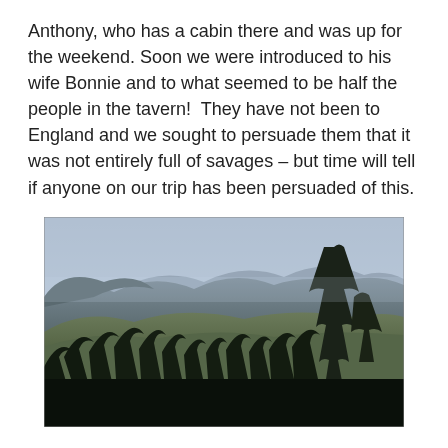Anthony, who has a cabin there and was up for the weekend. Soon we were introduced to his wife Bonnie and to what seemed to be half the people in the tavern!  They have not been to England and we sought to persuade them that it was not entirely full of savages – but time will tell if anyone on our trip has been persuaded of this.
[Figure (photo): Landscape photograph showing forested mountain slopes with tall conifer trees in the foreground (silhouetted dark green/black), green tree-covered hillsides in the middle ground, and hazy blue-grey mountain ridges in the background under a pale blue sky.]
We had a fun hour chatting and exchanging stories before ambling back by moonlight to our tent. Our tent